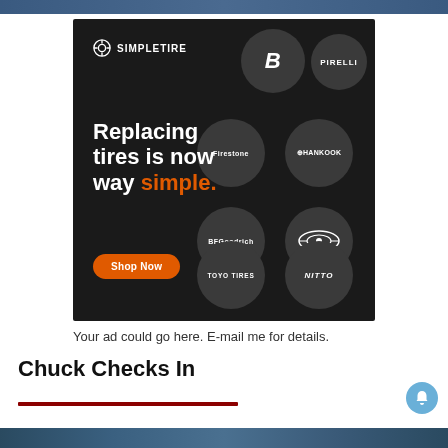[Figure (illustration): SimpleTire advertisement on dark background showing brand logos (Bridgestone, Pirelli, Firestone, Hankook, BFGoodrich, Michelin, Toyo Tires, Nitto) in grey circles. Headline reads 'Replacing tires is now way simple.' with an orange Shop Now button.]
Your ad could go here. E-mail me for details.
Chuck Checks In
[Figure (photo): Bottom strip showing a car/automotive photo]